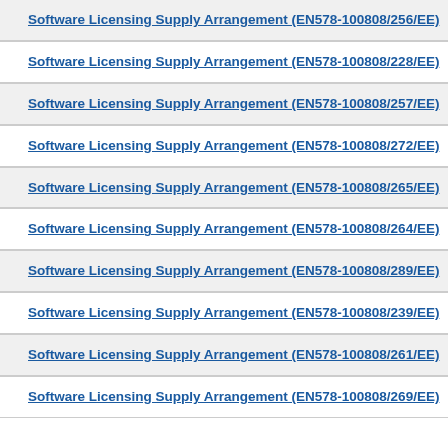Software Licensing Supply Arrangement (EN578-100808/256/EE)
Software Licensing Supply Arrangement (EN578-100808/228/EE)
Software Licensing Supply Arrangement (EN578-100808/257/EE)
Software Licensing Supply Arrangement (EN578-100808/272/EE)
Software Licensing Supply Arrangement (EN578-100808/265/EE)
Software Licensing Supply Arrangement (EN578-100808/264/EE)
Software Licensing Supply Arrangement (EN578-100808/289/EE)
Software Licensing Supply Arrangement (EN578-100808/239/EE)
Software Licensing Supply Arrangement (EN578-100808/261/EE)
Software Licensing Supply Arrangement (EN578-100808/269/EE)